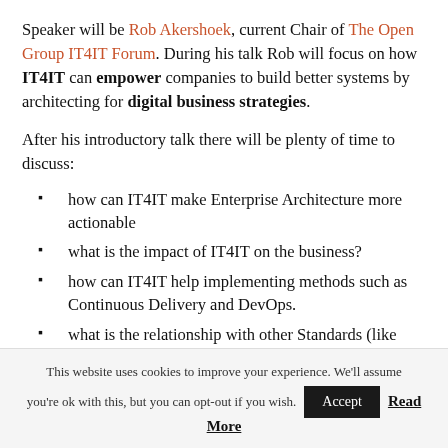Speaker will be Rob Akershoek, current Chair of The Open Group IT4IT Forum. During his talk Rob will focus on how IT4IT can empower companies to build better systems by architecting for digital business strategies.
After his introductory talk there will be plenty of time to discuss:
how can IT4IT make Enterprise Architecture more actionable
what is the impact of IT4IT on the business?
how can IT4IT help implementing methods such as Continuous Delivery and DevOps.
what is the relationship with other Standards (like
This website uses cookies to improve your experience. We'll assume you're ok with this, but you can opt-out if you wish. Accept Read More